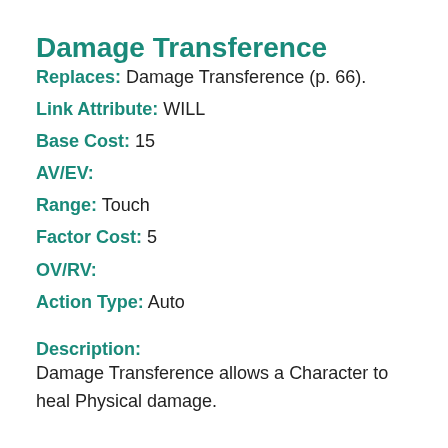Damage Transference
Replaces: Damage Transference (p. 66).
Link Attribute: WILL
Base Cost: 15
AV/EV:
Range: Touch
Factor Cost: 5
OV/RV:
Action Type: Auto
Description:
Damage Transference allows a Character to heal Physical damage.